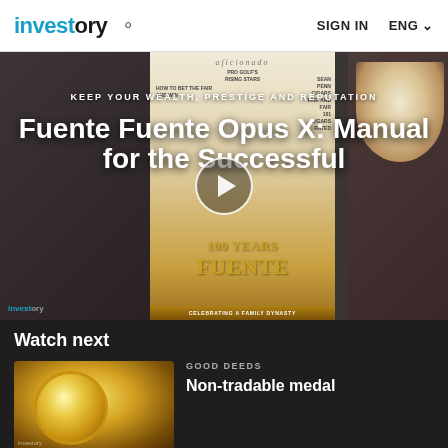investory | SIGN IN | ENG
[Figure (screenshot): Video banner showing a magazine cover of Aficionado featuring Fuente cigars, with a play button overlay. Background shows dark wood texture with a coffee cup on the right side.]
Fuente Fuente Opus X: Manual for the Successful
KEEP YOUR WEALTH, PRESTIGE AND REPUTATION
Watch next
GOOD DEEDS
Non-tradable medal
BUSINESS